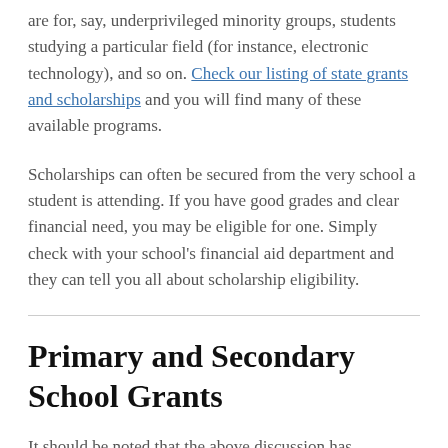are for, say, underprivileged minority groups, students studying a particular field (for instance, electronic technology), and so on. Check our listing of state grants and scholarships and you will find many of these available programs.
Scholarships can often be secured from the very school a student is attending. If you have good grades and clear financial need, you may be eligible for one. Simply check with your school's financial aid department and they can tell you all about scholarship eligibility.
Primary and Secondary School Grants
It should be noted that the above discussion has